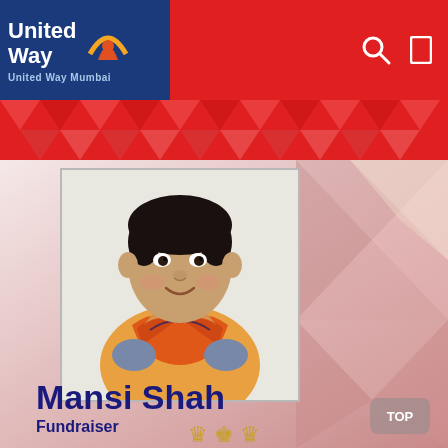United Way — United Way Mumbai
[Figure (photo): Portrait photo of Mansi Shah, a young woman wearing an orange vest/jacket with a colorful scarf, short black hair, smiling, against a light background]
Mansi Shah
Fundraiser